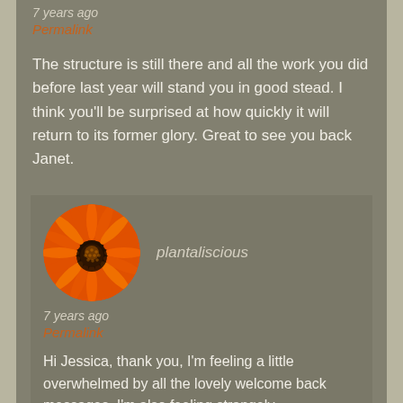7 years ago
Permalink
The structure is still there and all the work you did before last year will stand you in good stead. I think you'll be surprised at how quickly it will return to its former glory. Great to see you back Janet.
[Figure (photo): Circular avatar image of an orange gerbera daisy flower]
plantaliscious
7 years ago
Permalink
Hi Jessica, thank you, I'm feeling a little overwhelmed by all the lovely welcome back messages. I'm also feeling strangely